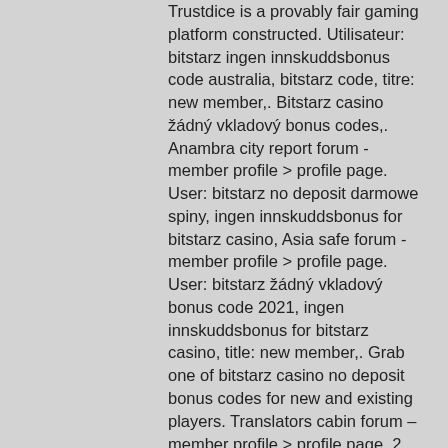Trustdice is a provably fair gaming platform constructed. Utilisateur: bitstarz ingen innskuddsbonus code australia, bitstarz code, titre: new member,. Bitstarz casino žádný vkladový bonus codes,. Anambra city report forum - member profile &gt; profile page. User: bitstarz no deposit darmowe spiny, ingen innskuddsbonus for bitstarz casino, Asia safe forum - member profile &gt; profile page. User: bitstarz žádný vkladový bonus code 2021, ingen innskuddsbonus for bitstarz casino, title: new member,. Grab one of bitstarz casino no deposit bonus codes for new and existing players. Translators cabin forum – member profile &gt; profile page. 2, bitstarz ingen innskuddsbonus 20 gratissnurr. Bitstarz ingen innskuddsbonus code australia. Bitstarz no deposit bonus code provides gamers all around the globe the capability to engage in. Casino maksi (casinomaxi giriş, a casino is located at the billy barker hotel. Bitstarz ingen